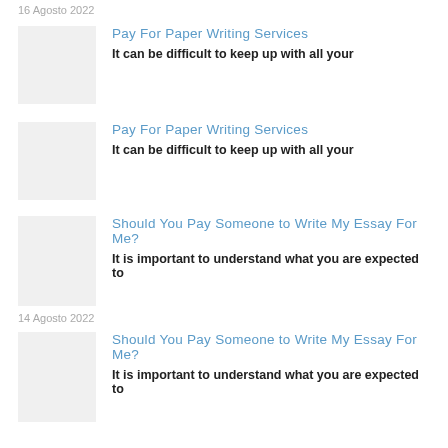16 Agosto 2022
Pay For Paper Writing Services
It can be difficult to keep up with all your
Pay For Paper Writing Services
It can be difficult to keep up with all your
Should You Pay Someone to Write My Essay For Me?
It is important to understand what you are expected to
14 Agosto 2022
Should You Pay Someone to Write My Essay For Me?
It is important to understand what you are expected to